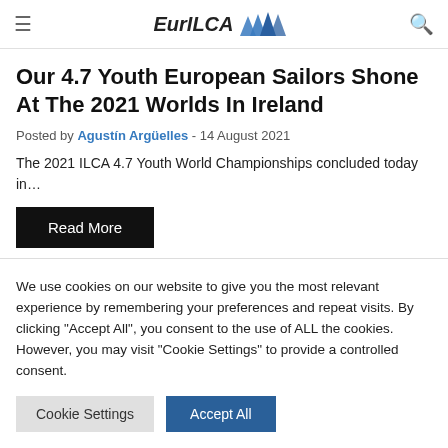EurILCA
Our 4.7 Youth European Sailors Shone At The 2021 Worlds In Ireland
Posted by Agustín Argüelles - 14 August 2021
The 2021 ILCA 4.7 Youth World Championships concluded today in…
Read More
We use cookies on our website to give you the most relevant experience by remembering your preferences and repeat visits. By clicking "Accept All", you consent to the use of ALL the cookies. However, you may visit "Cookie Settings" to provide a controlled consent.
Cookie Settings | Accept All